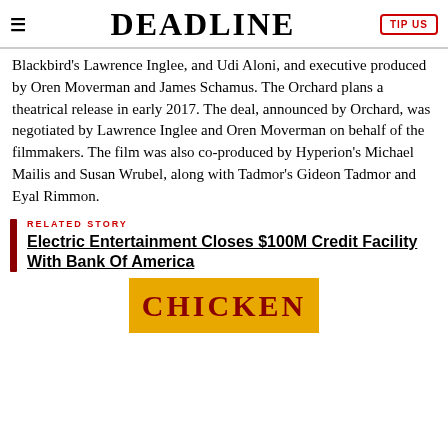DEADLINE
Blackbird's Lawrence Inglee, and Udi Aloni, and executive produced by Oren Moverman and James Schamus. The Orchard plans a theatrical release in early 2017. The deal, announced by Orchard, was negotiated by Lawrence Inglee and Oren Moverman on behalf of the filmmakers. The film was also co-produced by Hyperion's Michael Mailis and Susan Wrubel, along with Tadmor's Gideon Tadmor and Eyal Rimmon.
RELATED STORY
Electric Entertainment Closes $100M Credit Facility With Bank Of America
[Figure (photo): Partial image showing text CHICKEN in red on orange/yellow background]